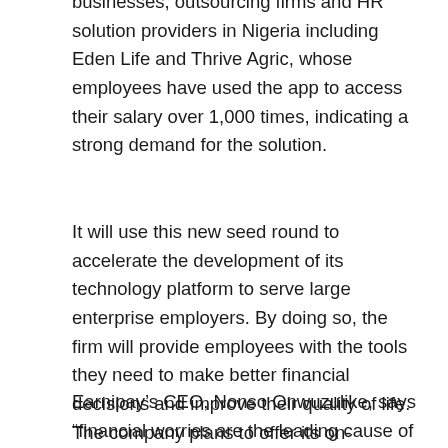businesses, outsourcing firms and HR solution providers in Nigeria including Eden Life and Thrive Agric, whose employees have used the app to access their salary over 1,000 times, indicating a strong demand for the solution.
It will use this new seed round to accelerate the development of its technology platform to serve large enterprise employers. By doing so, the firm will provide employees with the tools they need to make better financial decisions and improve their quality of life. The company plans to offer its on-demand salary solution to 200,000 employees by the end of 2022.
Earnipay’s CEO, Nonso Onwuzulike, says “financial worries are the leading cause of distractions in the workplace. The monthly pay cycle means employees are often unable to afford daily expenses, cover